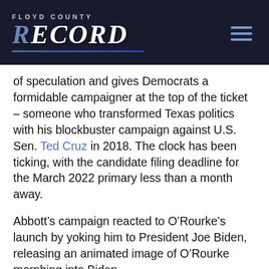Floyd County Record
of speculation and gives Democrats a formidable campaigner at the top of the ticket – someone who transformed Texas politics with his blockbuster campaign against U.S. Sen. Ted Cruz in 2018. The clock has been ticking, with the candidate filing deadline for the March 2022 primary less than a month away.
Abbott’s campaign reacted to O’Rourke’s launch by yoking him to President Joe Biden, releasing an animated image of O’Rourke morphing into Biden.
“The last thing Texans need is President Biden’s